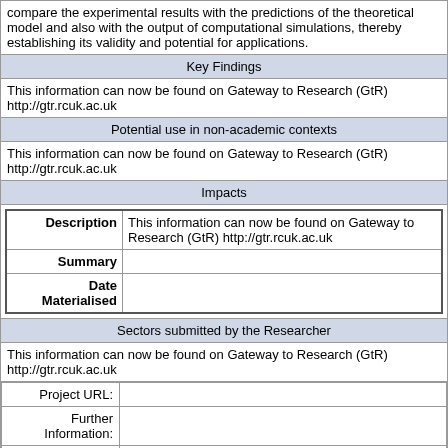compare the experimental results with the predictions of the theoretical model and also with the output of computational simulations, thereby establishing its validity and potential for applications.
Key Findings
This information can now be found on Gateway to Research (GtR) http://gtr.rcuk.ac.uk
Potential use in non-academic contexts
This information can now be found on Gateway to Research (GtR) http://gtr.rcuk.ac.uk
Impacts
| Description | Summary | Date Materialised |
| --- | --- | --- |
| This information can now be found on Gateway to Research (GtR) http://gtr.rcuk.ac.uk |  |  |
Sectors submitted by the Researcher
This information can now be found on Gateway to Research (GtR) http://gtr.rcuk.ac.uk
| Project URL: | Further Information: | Organisation Website: |
| --- | --- | --- |
|  |  | http://www.st-and.ac.uk |